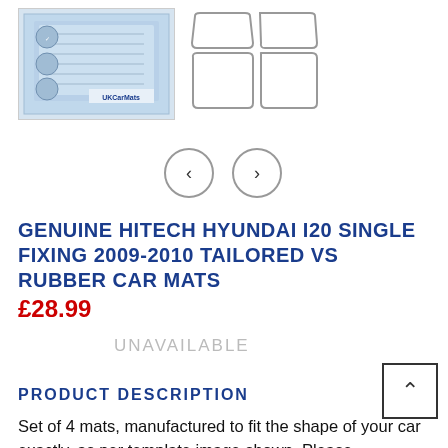[Figure (photo): Product images: left shows packaged car mats with UKCarMats branding, right shows outline/template illustration of 4 car mats]
[Figure (other): Navigation arrows: left chevron circle and right chevron circle for image carousel]
GENUINE HITECH HYUNDAI I20 SINGLE FIXING 2009-2010 TAILORED VS RUBBER CAR MATS
£28.99
UNAVAILABLE
PRODUCT DESCRIPTION
Set of 4 mats, manufactured to fit the shape of your car exactly, as per template image shown. Please